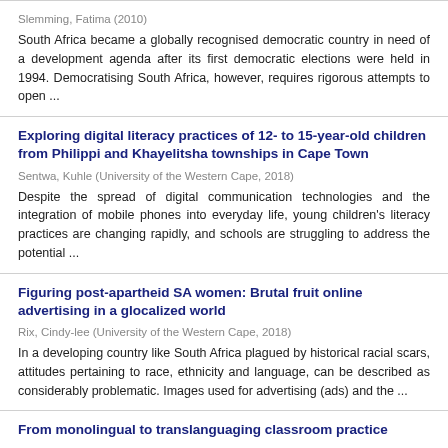Slemming, Fatima (2010)
South Africa became a globally recognised democratic country in need of a development agenda after its first democratic elections were held in 1994. Democratising South Africa, however, requires rigorous attempts to open ...
Exploring digital literacy practices of 12- to 15-year-old children from Philippi and Khayelitsha townships in Cape Town
Sentwa, Kuhle (University of the Western Cape, 2018)
Despite the spread of digital communication technologies and the integration of mobile phones into everyday life, young children's literacy practices are changing rapidly, and schools are struggling to address the potential ...
Figuring post-apartheid SA women: Brutal fruit online advertising in a glocalized world
Rix, Cindy-lee (University of the Western Cape, 2018)
In a developing country like South Africa plagued by historical racial scars, attitudes pertaining to race, ethnicity and language, can be described as considerably problematic. Images used for advertising (ads) and the ...
From monolingual to translanguaging classroom practice